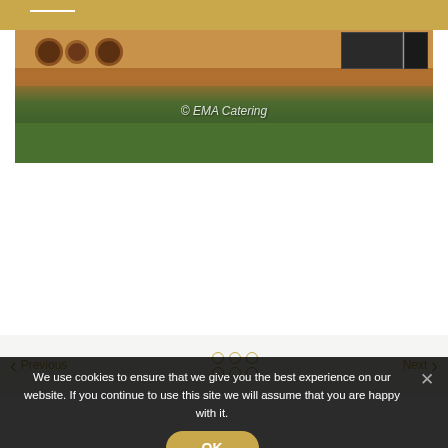[Figure (photo): Food stall or catering stand with wooden counter, baked goods, and green grass in the foreground. Watermark reads '© EMA Catering'.]
© EMA Catering
Previous
Next
We use cookies to ensure that we give you the best experience on our website. If you continue to use this site we will assume that you are happy with it.
OK